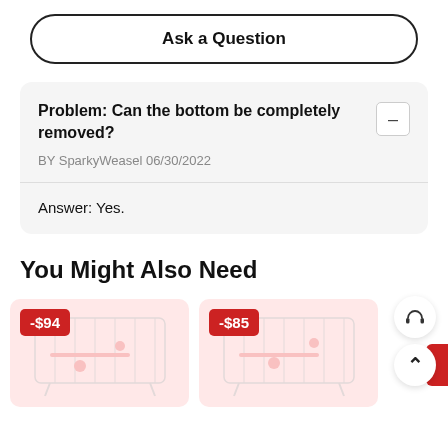Ask a Question
Problem: Can the bottom be completely removed?
BY SparkyWeasel 06/30/2022
Answer: Yes.
You Might Also Need
[Figure (photo): Product card with -$94 discount badge showing a hamster cage]
[Figure (photo): Product card with -$85 discount badge showing a hamster cage]